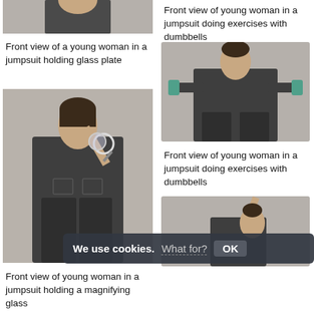[Figure (photo): Partial photo of a young woman in a jumpsuit, cropped at top, seen from front]
Front view of a young woman in a jumpsuit holding glass plate
[Figure (photo): Front view of young woman in a jumpsuit doing exercises with dumbbells - caption text]
[Figure (photo): Front view of young woman in a jumpsuit holding a magnifying glass up to her eye]
[Figure (photo): Front view of young woman in a jumpsuit doing exercises with dumbbells, holding dumbbells at chest]
Front view of young woman in a jumpsuit doing exercises with dumbbells
Front view of young woman in a jumpsuit doing exercises with dumbbells
[Figure (photo): Young woman in a jumpsuit with one arm raised upward, side/back view]
Front view of young woman in a jumpsuit holding a magnifying glass